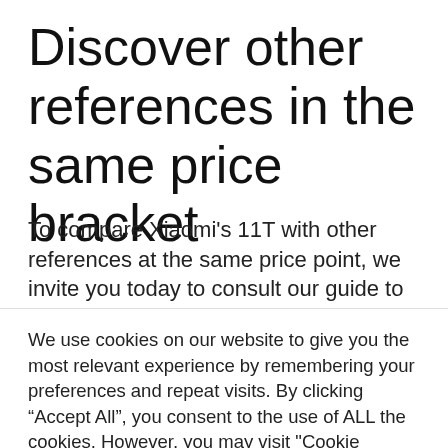Discover other references in the same price bracket
To compare Xiaomi's 11T with other references at the same price point, we invite you today to consult our guide to the best smartphones under 300 euros in 2022.
We use cookies on our website to give you the most relevant experience by remembering your preferences and repeat visits. By clicking “Accept All”, you consent to the use of ALL the cookies. However, you may visit "Cookie Settings" to provide a controlled consent.